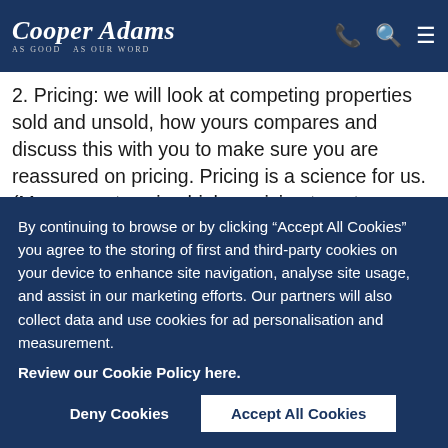Cooper Adams — As Good As Our Word
1. Signing our agreement will trigger the start of our s...
2. Pricing: we will look at competing properties sold and unsold, how yours compares and discuss this with you to make sure you are reassured on pricing. Pricing is a science for us. (Many agents using higher pricing to get an instruction, with no evidence to back up their opinion). We will look at how your property pricing fits in with portal brackets for maximum impact according to how buyers search. We know that pitching the price slightly
By continuing to browse or by clicking “Accept All Cookies” you agree to the storing of first and third-party cookies on your device to enhance site navigation, analyse site usage, and assist in our marketing efforts. Our partners will also collect data and use cookies for ad personalisation and measurement.
Review our Cookie Policy here.
Deny Cookies   Accept All Cookies